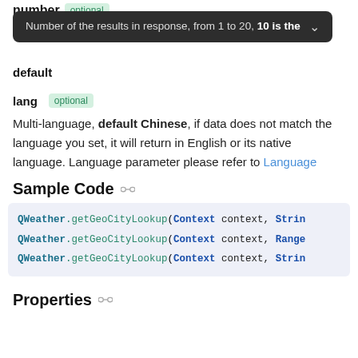number  optional
Docs Category — Number of the results in response, from 1 to 20, 10 is the default
lang  optional
Multi-language, default Chinese, if data does not match the language you set, it will return in English or its native language. Language parameter please refer to Language
Sample Code
[Figure (screenshot): Code block showing three lines of QWeather.getGeoCityLookup(Context context, ...) method calls]
Properties